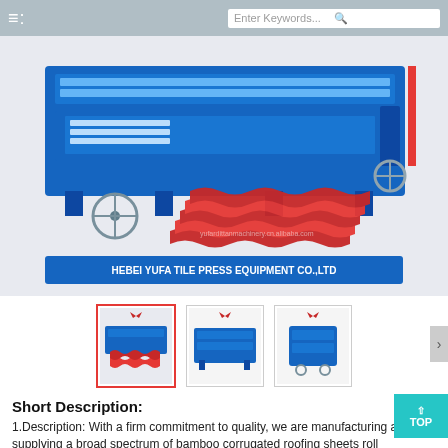≡: [search bar] Enter Keywords...
[Figure (photo): Blue double-layer tile roll forming machine with red corrugated roofing sheets displayed in front. Bottom label reads: HEBEI YUFA TILE PRESS EQUIPMENT CO.,LTD]
[Figure (photo): Thumbnail 1 (active/selected): roll forming machine with red tile sheets]
[Figure (photo): Thumbnail 2: side view of roll forming machine]
[Figure (photo): Thumbnail 3: front view of roll forming machine]
Short Description:
1.Description: With a firm commitment to quality, we are manufacturing and supplying a broad spectrum of bamboo corrugated roofing sheets roll forming machine.The corrugated roofing sheets are colorful and recyclable.
2.Corrugated roofing sheets: